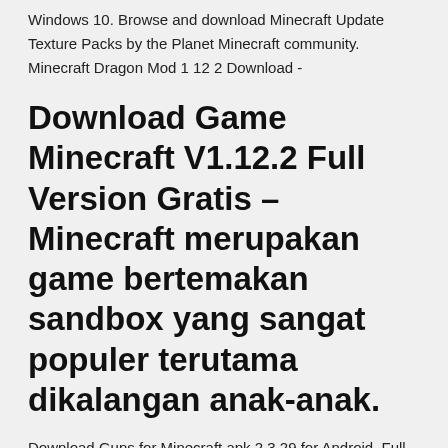Windows 10. Browse and download Minecraft Update Texture Packs by the Planet Minecraft community. Minecraft Dragon Mod 1 12 2 Download -
Download Game Minecraft V1.12.2 Full Version Gratis – Minecraft merupakan game bertemakan sandbox yang sangat populer terutama dikalangan anak-anak.
Download Guns for Minecraft apk 2.3.29 for Android. Full guns and weapons collection for Minecraft PE! Totally free! Easy install! The Lord of the Rings Mod has been through many updates since its beginning in January 2013. Some of these updates were large, others small. Some were focused on one aspect of the Mod, while others were more "general" updates.